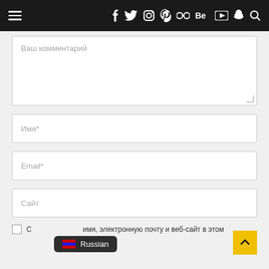Navigation bar with hamburger menu and social media icons
Ваш комментарий
Имя*
Email*
Сайт
Russian
Сохранить моё имя, электронную почту и веб-сайт в этом